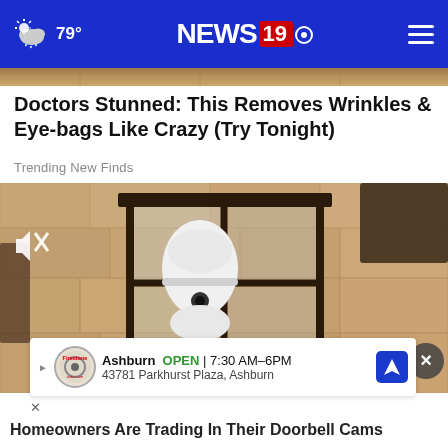79° NEWS 19
[Figure (photo): Partial top image strip showing outdoor texture]
Doctors Stunned: This Removes Wrinkles & Eye-bags Like Crazy (Try Tonight)
Trending New Finds
[Figure (screenshot): Video player showing a close-up of an outdoor lantern-style light fixture mounted on a stone wall, with a security camera visible inside. A mute icon is shown in the top left, and a close button in the bottom right.]
Ashburn  OPEN  7:30 AM–6PM  43781 Parkhurst Plaza, Ashburn
Homeowners Are Trading In Their Doorbell Cams